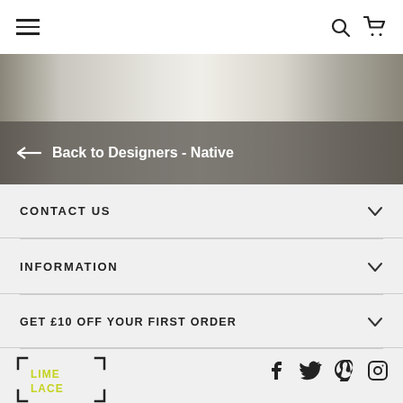[Figure (screenshot): Top navigation bar with hamburger menu icon on left and search/cart icons on right]
[Figure (photo): Hero banner image showing a cylindrical/spool object with dark gradient overlay and back navigation link]
Back to Designers - Native
CONTACT US
INFORMATION
GET £10 OFF YOUR FIRST ORDER
[Figure (logo): Lime Lace logo with bracket corners and yellow/lime colored text]
[Figure (other): Social media icons: Facebook, Twitter, Pinterest, Instagram]